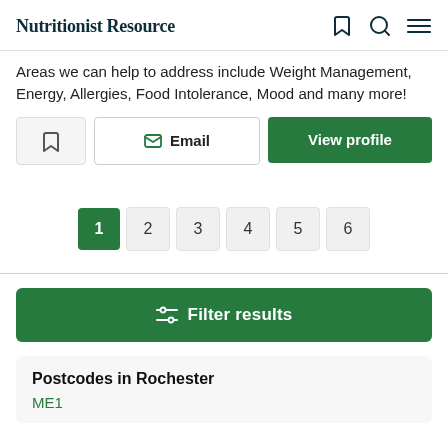Nutritionist Resource
Areas we can help to address include Weight Management, Energy, Allergies, Food Intolerance, Mood and many more!
Email | View profile
Pagination: 1 2 3 4 5 6
Filter results
Postcodes in Rochester
ME1